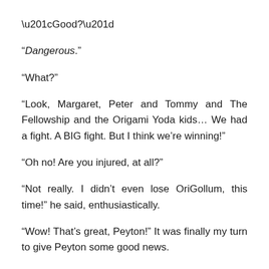“Good?”
“Dangerous.”
“What?”
“Look, Margaret, Peter and Tommy and The Fellowship and the Origami Yoda kids… We had a fight. A BIG fight. But I think we’re winning!”
“Oh no! Are you injured, at all?”
“Not really. I didn’t even lose OriGollum, this time!” he said, enthusiastically.
“Wow! That’s great, Peyton!” It was finally my turn to give Peyton some good news.
“Hey, Peyton? I need to tell you something.”